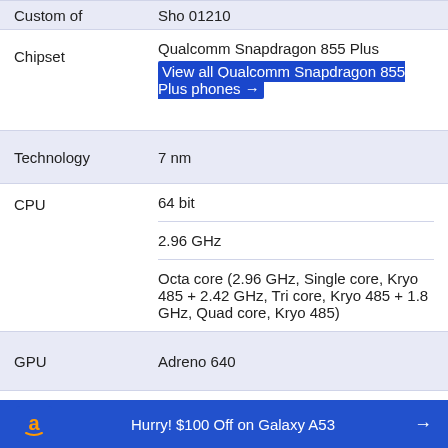| Attribute | Value |
| --- | --- |
| Custom of | Sho 01210 (partial, top) |
| Chipset | Qualcomm Snapdragon 855 Plus
View all Qualcomm Snapdragon 855 Plus phones → |
| Technology | 7 nm |
| CPU | 64 bit
2.96 GHz
Octa core (2.96 GHz, Single core, Kryo 485 + 2.42 GHz, Tri core, Kryo 485 + 1.8 GHz, Quad core, Kryo 485) |
| GPU | Adreno 640 |
| RAM | 8GB |
Hurry! $100 Off on Galaxy A53